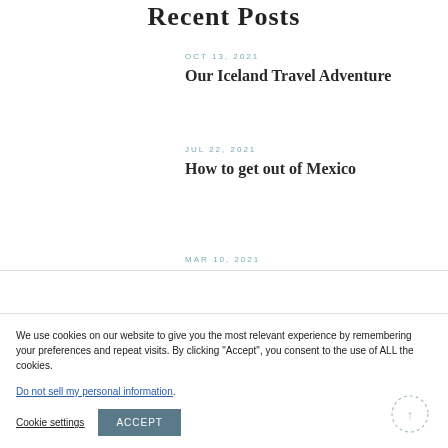Recent Posts
OCT 13, 2021
Our Iceland Travel Adventure
JUL 22, 2021
How to get out of Mexico
MAR 10, 2021
We use cookies on our website to give you the most relevant experience by remembering your preferences and repeat visits. By clicking “Accept”, you consent to the use of ALL the cookies.
Do not sell my personal information.
Cookie settings
ACCEPT